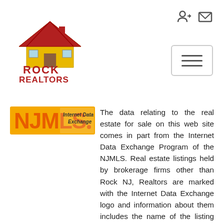[Figure (logo): Rock Realtors logo — house icon with red text ROCK REALTORS]
[Figure (illustration): Navigation icons: login/person icon and envelope/mail icon at top right]
[Figure (illustration): Hamburger menu button with three horizontal lines, bordered rectangle]
[Figure (logo): NJMLS Internet Data Exchange logo — orange/yellow NJMLS text with house graphic, and Internet Data Exchange text]
The data relating to the real estate for sale on this web site comes in part from the Internet Data Exchange Program of the NJMLS. Real estate listings held by brokerage firms other than Rock NJ, Realtors are marked with the Internet Data Exchange logo and information about them includes the name of the listing brokers. Some properties listed with the participating brokers do not appear on this website at the request of the seller. Listings of brokers that do not participate in Internet Data Exchange do not appear on this website. All information deemed reliable but not guaranteed. Last date updated: August 21, 2022 5:11 AM UTC Source: New Jersey Multiple Listing Service, Inc. "© 2022 New Jersey Multiple Listing Service, Inc. All rights reserved."